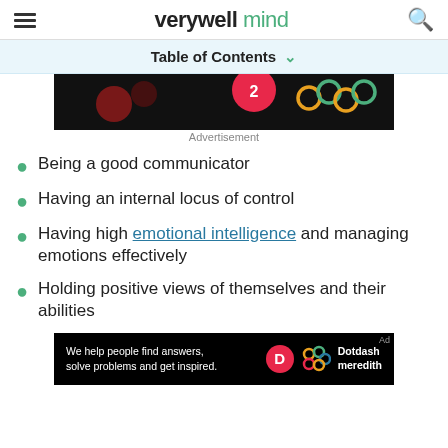verywell mind
Table of Contents
[Figure (photo): Advertisement banner with dark background, colored circles and Olympic rings style graphic]
Advertisement
Being a good communicator
Having an internal locus of control
Having high emotional intelligence and managing emotions effectively
Holding positive views of themselves and their abilities
[Figure (photo): Dotdash Meredith advertisement banner: 'We help people find answers, solve problems and get inspired.']